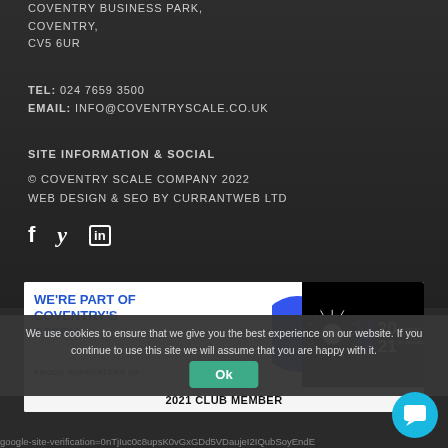COVENTRY BUSINESS PARK,
COVENTRY,
CV5 6UR
TEL: 024 7659 3500
EMAIL: INFO@COVENTRYSCALE.CO.UK
SITE INFORMATION & SOCIAL
© COVENTRY SCALE COMPANY 2022
WEB DESIGN & SEO BY CURRANTWEB LTD
[Figure (illustration): Social media icons: Facebook (f), Twitter (bird/italic y), LinkedIn (in)]
[Figure (logo): We're Part of Coventry's Story banner — Proud Supporters Of, Coventry UK City of Culture 2021 Club Member badge]
2021 CLUB MEMBER
We use cookies to ensure that we give you the best experience on our website. If you continue to use this site we will assume that you are happy with it.
Ok
google-site-verification=0nTjIuc0c8upsK0vGxGDd5VDaujeI2IQubSoyEndE